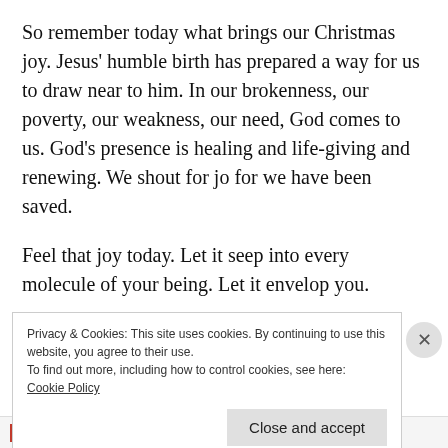So remember today what brings our Christmas joy. Jesus' humble birth has prepared a way for us to draw near to him. In our brokenness, our poverty, our weakness, our need, God comes to us. God's presence is healing and life-giving and renewing. We shout for jo for we have been saved.
Feel that joy today. Let it seep into every molecule of your being. Let it envelop you.
Privacy & Cookies: This site uses cookies. By continuing to use this website, you agree to their use.
To find out more, including how to control cookies, see here:
Cookie Policy
Close and accept